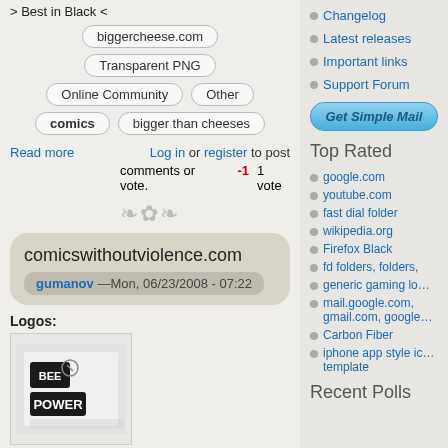> Best in Black <
biggercheese.com
Transparent PNG
Online Community
Other
comics
bigger than cheeses
Read more
Log in or register to post comments or vote.
-1   1 vote
comicswithoutviolence.com
gumanov —Mon, 06/23/2008 - 07:22
Logos:
[Figure (logo): Bee Power logo - black and white text logo on light background]
A Transparent Logo for Bee Power.
> Best in Black <
comicswithoutviolence.com
Changelog
Latest releases
Important links
Support Forum
Get Simple Mail
Top Rated
google.com
youtube.com
fast dial folder
wikipedia.org
Firefox Black
fd folders, folders,
generic gaming lo…
mail.google.com, gmail.com, google…
Carbon Fiber
iphone app style ic… template
Recent Polls